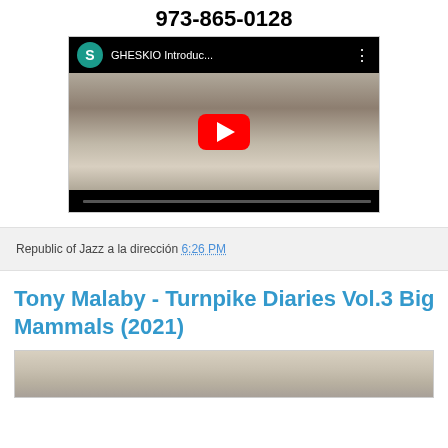973-865-0128
[Figure (screenshot): YouTube video thumbnail showing a man in a white coat speaking, with a red play button overlay. Top bar shows teal avatar with 'S', title 'GHESKIO Introduc...', and three-dot menu. Bottom bar is black.]
Republic of Jazz a la dirección 6:26 PM
Tony Malaby - Turnpike Diaries Vol.3 Big Mammals (2021)
[Figure (photo): Partial album cover image, muted light tones, partially visible at bottom of page.]